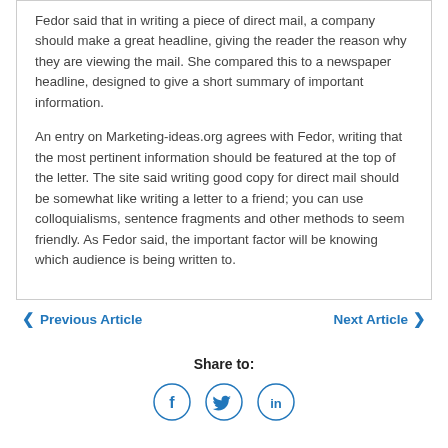Fedor said that in writing a piece of direct mail, a company should make a great headline, giving the reader the reason why they are viewing the mail. She compared this to a newspaper headline, designed to give a short summary of important information.
An entry on Marketing-ideas.org agrees with Fedor, writing that the most pertinent information should be featured at the top of the letter. The site said writing good copy for direct mail should be somewhat like writing a letter to a friend; you can use colloquialisms, sentence fragments and other methods to seem friendly. As Fedor said, the important factor will be knowing which audience is being written to.
◀ Previous Article
Next Article ▶
Share to:
[Figure (illustration): Social media sharing icons: Facebook (f), Twitter (bird), LinkedIn (in), all in blue circle outlines]